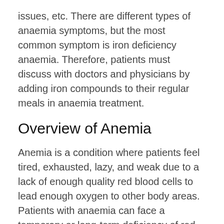issues, etc. There are different types of anaemia symptoms, but the most common symptom is iron deficiency anaemia. Therefore, patients must discuss with doctors and physicians by adding iron compounds to their regular meals in anaemia treatment.
Overview of Anemia
Anemia is a condition where patients feel tired, exhausted, lazy, and weak due to a lack of enough quality red blood cells to lead enough oxygen to other body areas. Patients with anaemia can face a temporary or long-term deficiency of red blood cells. Therefore, it is necessary to visit a doctor if patients suspect that they have anaemia, ranging from mild to